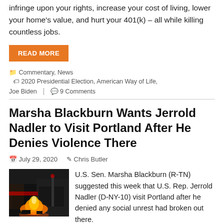infringe upon your rights, increase your cost of living, lower your home's value, and hurt your 401(k) – all while killing countless jobs.
READ MORE
Commentary, News   2020 Presidential Election, American Way of Life, Joe Biden   9 Comments
Marsha Blackburn Wants Jerrold Nadler to Visit Portland After He Denies Violence There
July 29, 2020   Chris Butler
[Figure (photo): Nighttime photo showing a fire burning in front of a building, Portland protest scene]
U.S. Sen. Marsha Blackburn (R-TN) suggested this week that U.S. Rep. Jerrold Nadler (D-NY-10) visit Portland after he denied any social unrest had broken out there.
Blackburn stated this Mon...